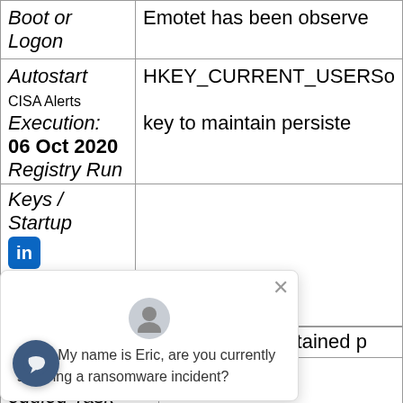| Technique | Description |
| --- | --- |
| Boot or Logon Autostart Execution: Registry Run Keys / Startup Folder | Emotet has been observed using HKEY_CURRENT_USER\Software key to maintain persistence |
| Scheduled Task/Job: Scheduled Task | Emotet has maintained persistence |
CISA Alerts
06 Oct 2020
[Figure (screenshot): Chat popup overlay with avatar and message: Hello! My name is Eric, are you currently suffering a ransomware incident? Also shows LinkedIn badge and chat launcher button.]